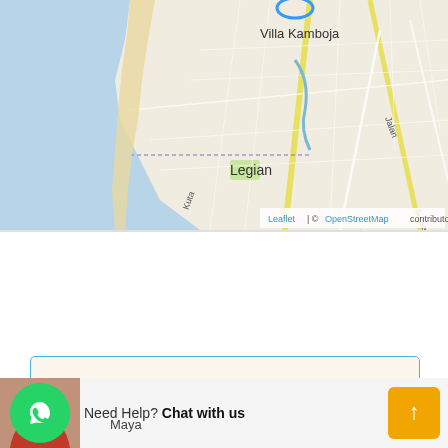[Figure (map): OpenStreetMap showing Legian and Villa Kamboja area in Bali, Indonesia. Blue circle marker near top center. Yellow roads visible, coastline on left side. Attribution: Leaflet | © OpenStreetMap contributors]
Details
Updated on July 26, 2021 at 4:14 am
Need Help? Chat with us
Maya